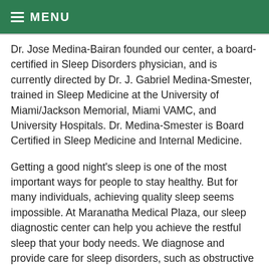≡ MENU
Dr. Jose Medina-Bairan founded our center, a board-certified in Sleep Disorders physician, and is currently directed by Dr. J. Gabriel Medina-Smester, trained in Sleep Medicine at the University of Miami/Jackson Memorial, Miami VAMC, and University Hospitals. Dr. Medina-Smester is Board Certified in Sleep Medicine and Internal Medicine.
Getting a good night's sleep is one of the most important ways for people to stay healthy. But for many individuals, achieving quality sleep seems impossible. At Maranatha Medical Plaza, our sleep diagnostic center can help you achieve the restful sleep that your body needs. We diagnose and provide care for sleep disorders, such as obstructive and central sleep apnea, narcolepsy, parasomnias, insomnias, and more.
After a thorough evaluation by our medical director or the...